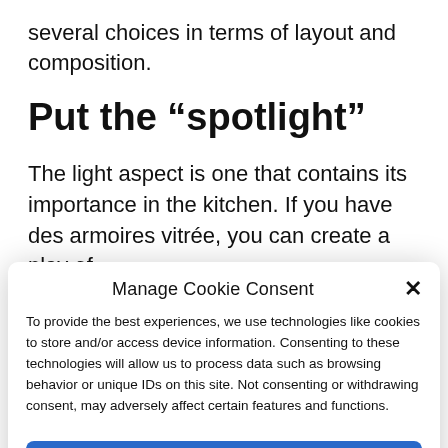several choices in terms of layout and composition.
Put the “spotlight”
The light aspect is one that contains its importance in the kitchen. If you have des armoires vitrée, you can create a play of
Manage Cookie Consent
To provide the best experiences, we use technologies like cookies to store and/or access device information. Consenting to these technologies will allow us to process data such as browsing behavior or unique IDs on this site. Not consenting or withdrawing consent, may adversely affect certain features and functions.
Accept
Cookie Policy